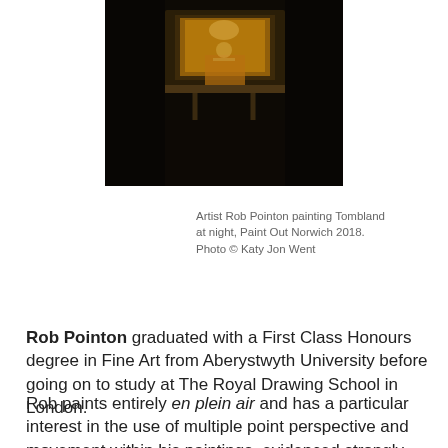[Figure (photo): Artist Rob Pointon painting at night, dark scene with painting equipment and warm lighting]
Artist Rob Pointon painting Tombland at night, Paint Out Norwich 2018. Photo © Katy Jon Went
Rob Pointon graduated with a First Class Honours degree in Fine Art from Aberystwyth University before going on to study at The Royal Drawing School in London.
Rob paints entirely en plein air and has a particular interest in the use of multiple point perspective and movement within his paintings, evidenced strongly with his depiction of water and crowds. Painting on location brings an added dynamic to his work,